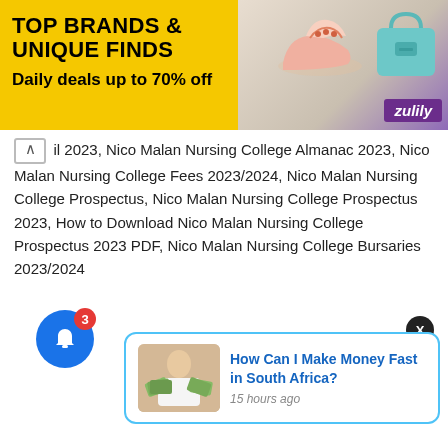[Figure (other): Advertisement banner for Zulily: TOP BRANDS & UNIQUE FINDS, Daily deals up to 70% off, with shoe and bag product images and Zulily logo]
il 2023, Nico Malan Nursing College Almanac 2023, Nico Malan Nursing College Fees 2023/2024, Nico Malan Nursing College Prospectus, Nico Malan Nursing College Prospectus 2023, How to Download Nico Malan Nursing College Prospectus 2023 PDF, Nico Malan Nursing College Bursaries 2023/2024
[Figure (other): Notification popup card: How Can I Make Money Fast in South Africa? 15 hours ago, with thumbnail image of person holding money fans]
[Figure (other): Blue notification bell button with red badge showing count 3]